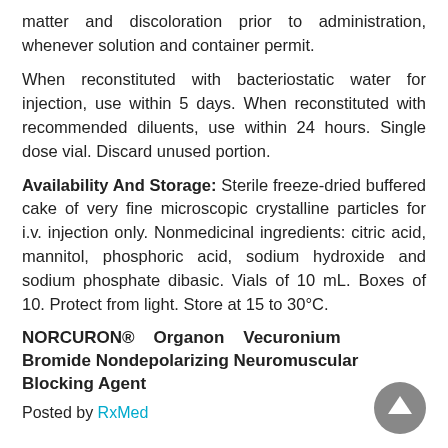matter and discoloration prior to administration, whenever solution and container permit.
When reconstituted with bacteriostatic water for injection, use within 5 days. When reconstituted with recommended diluents, use within 24 hours. Single dose vial. Discard unused portion.
Availability And Storage: Sterile freeze-dried buffered cake of very fine microscopic crystalline particles for i.v. injection only. Nonmedicinal ingredients: citric acid, mannitol, phosphoric acid, sodium hydroxide and sodium phosphate dibasic. Vials of 10 mL. Boxes of 10. Protect from light. Store at 15 to 30°C.
NORCURON® Organon Vecuronium Bromide Nondepolarizing Neuromuscular Blocking Agent
Posted by RxMed